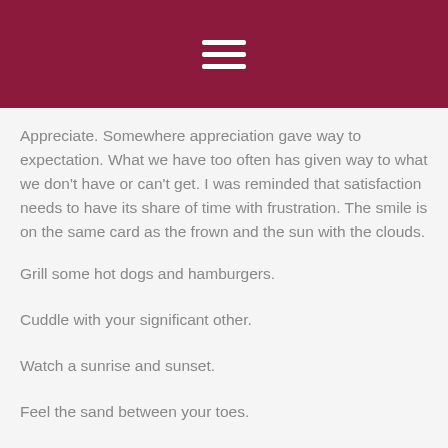[Figure (screenshot): Dark red/maroon header bar with a white hamburger menu icon (three horizontal lines) centered in it.]
Appreciate. Somewhere appreciation gave way to expectation.  What we have too often has given way to what we don't have or can't get. I was reminded that satisfaction needs to have its share of time with frustration. The smile is on the same card as the frown and the sun with the clouds.
Grill some hot dogs and hamburgers.
Cuddle with your significant other.
Watch a sunrise and sunset.
Feel the sand between your toes.
Go for a hike and find our immense beauty.